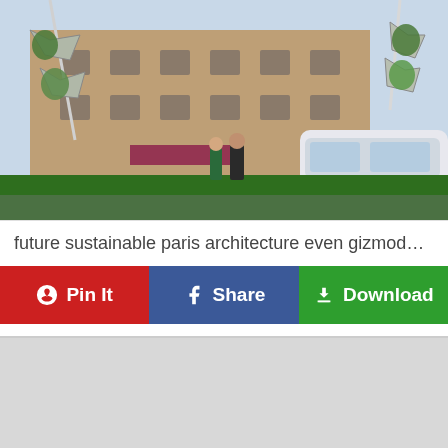[Figure (photo): Futuristic concept art of a sustainable Paris street with green-covered hexagonal pods on lamp posts, a modern tram, classical Haussmann-style buildings with vegetation, and pedestrians on the street.]
future sustainable paris architecture even gizmodo aus...
[Figure (other): Three action buttons: Pin It (red, Pinterest), Share (blue, Facebook), Download (green)]
[Figure (other): Gray placeholder/advertisement block]